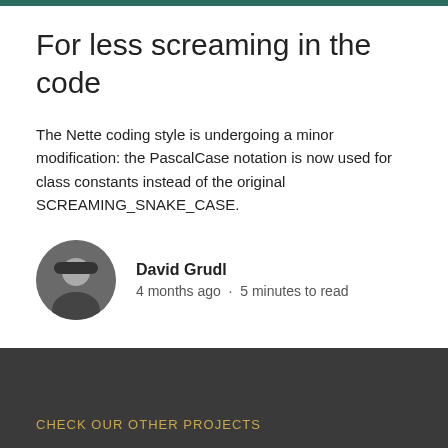For less screaming in the code
The Nette coding style is undergoing a minor modification: the PascalCase notation is now used for class constants instead of the original SCREAMING_SNAKE_CASE.
David Grudl
4 months ago · 5 minutes to read
CHECK OUR OTHER PROJECTS